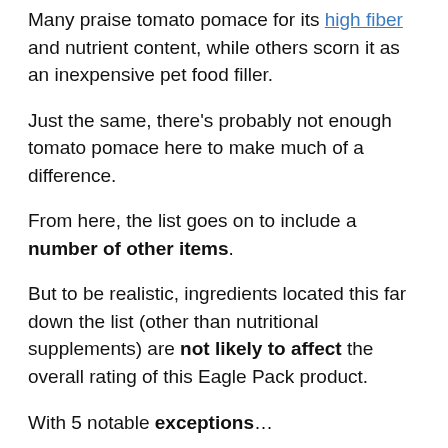Many praise tomato pomace for its high fiber and nutrient content, while others scorn it as an inexpensive pet food filler.
Just the same, there's probably not enough tomato pomace here to make much of a difference.
From here, the list goes on to include a number of other items.
But to be realistic, ingredients located this far down the list (other than nutritional supplements) are not likely to affect the overall rating of this Eagle Pack product.
With 5 notable exceptions…
First, brewers yeast can be a controversial item. Although it's a by-product of the beer making process, this ingredient is rich in minerals and other healthy nutrients.